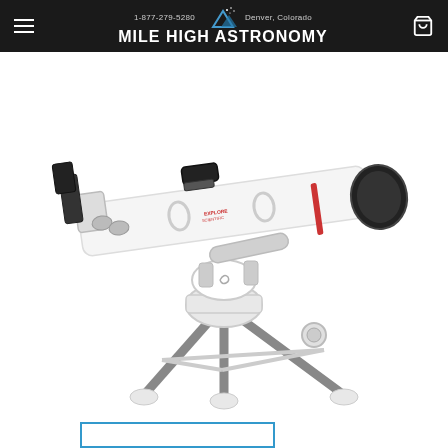Mile High Astronomy — 1-877-279-5280 — Denver, Colorado
[Figure (photo): White refractor telescope (Explore brand) on a white alt-azimuth tripod mount, with a red-dot finder and eyepiece focuser visible, set against a white background.]
[Figure (other): Blue rectangle outline at the bottom of the page, partially cut off.]